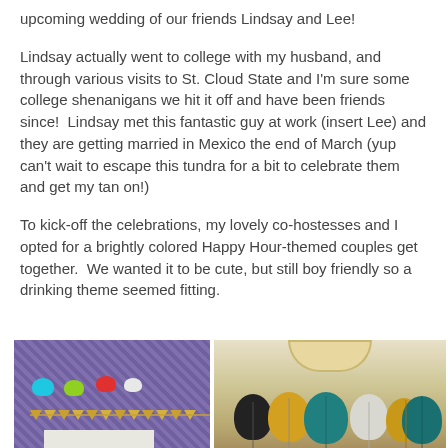upcoming wedding of our friends Lindsay and Lee!
Lindsay actually went to college with my husband, and through various visits to St. Cloud State and I'm sure some college shenanigans we hit it off and have been friends since!  Lindsay met this fantastic guy at work (insert Lee) and they are getting married in Mexico the end of March (yup can't wait to escape this tundra for a bit to celebrate them and get my tan on!)
To kick-off the celebrations, my lovely co-hostesses and I opted for a brightly colored Happy Hour-themed couples get together.  We wanted it to be cute, but still boy friendly so a drinking theme seemed fitting.
[Figure (photo): Party decorations including colorful pom-poms (blue, green, red, white) and a gold banner against a sparkly mosaic tile background, with a fireplace below]
[Figure (photo): Balloons in black, gold, teal/dark cyan, white, and gold colors hanging near a ceiling light fixture]